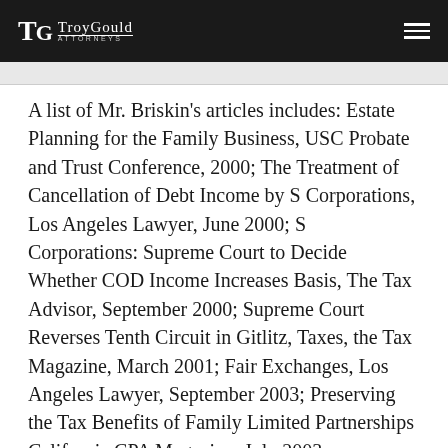TroyGould ATTORNEYS
A list of Mr. Briskin's articles includes: Estate Planning for the Family Business, USC Probate and Trust Conference, 2000; The Treatment of Cancellation of Debt Income by S Corporations, Los Angeles Lawyer, June 2000; S Corporations: Supreme Court to Decide Whether COD Income Increases Basis, The Tax Advisor, September 2000; Supreme Court Reverses Tenth Circuit in Gitlitz, Taxes, the Tax Magazine, March 2001; Fair Exchanges, Los Angeles Lawyer, September 2003; Preserving the Tax Benefits of Family Limited Partnerships California CPA Magazine, July 2003;